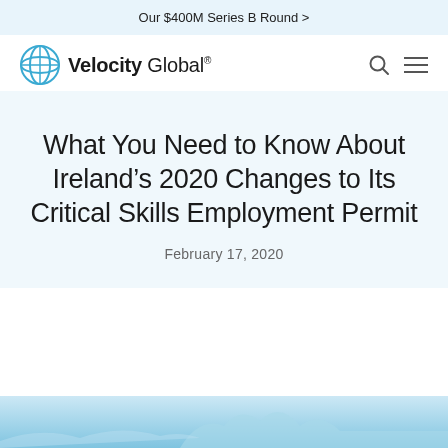Our $400M Series B Round >
[Figure (logo): Velocity Global logo with circular icon and wordmark]
What You Need to Know About Ireland’s 2020 Changes to Its Critical Skills Employment Permit
February 17, 2020
[Figure (photo): Partial photo at bottom of page, light blue/teal aerial or landscape image]